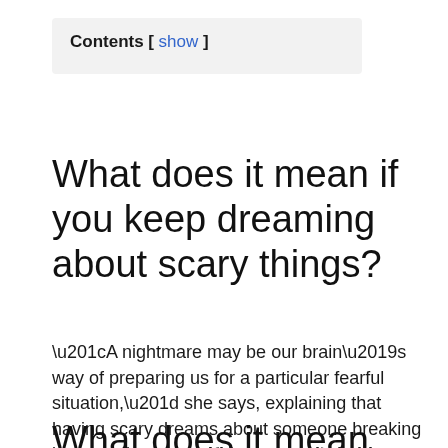Contents [ show ]
What does it mean if you keep dreaming about scary things?
“A nightmare may be our brain’s way of preparing us for a particular fearful situation,” she says, explaining that having scary dreams about someone breaking into your home could be your mind either preparing you for dealing with the situation, or helping you to feel less afraid.
What does it mean when